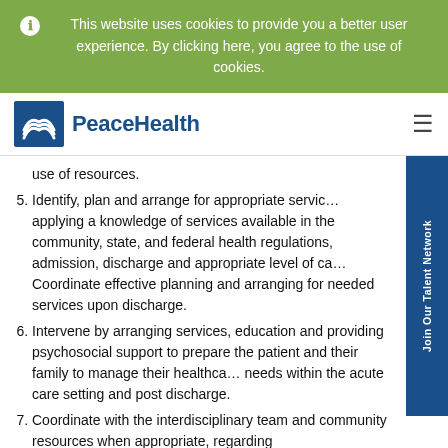This website uses cookies to provide you a better user experience. By clicking here, you agree to the use of cookies.
[Figure (logo): PeaceHealth logo with blue box containing wave/bird graphic and blue PeaceHealth text]
use of resources.
5. Identify, plan and arrange for appropriate services applying a knowledge of services available in the community, state, and federal health regulations, admission, discharge and appropriate level of care. Coordinate effective planning and arranging for needed services upon discharge.
6. Intervene by arranging services, education and providing psychosocial support to prepare the patient and their family to manage their healthcare needs within the acute care setting and post discharge.
7. Coordinate with the interdisciplinary team and community resources when appropriate, regarding